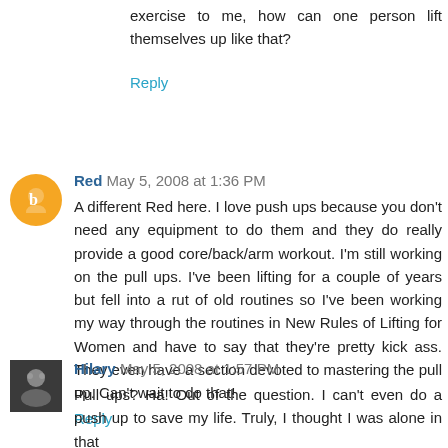exercise to me, how can one person lift themselves up like that?
Reply
Red  May 5, 2008 at 1:36 PM
A different Red here. I love push ups because you don't need any equipment to do them and they do really provide a good core/back/arm workout. I'm still working on the pull ups. I've been lifting for a couple of years but fell into a rut of old routines so I've been working my way through the routines in New Rules of Lifting for Women and have to say that they're pretty kick ass. They even have a section devoted to mastering the pull up. Can't wait to do that!
Reply
Hilary  May 5, 2008 at 1:57 PM
Pull ups? Ha! Out of the question. I can't even do a push up to save my life. Truly, I thought I was alone in that